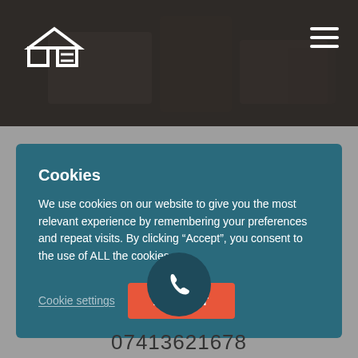[Figure (logo): Website header with dark background showing furniture/room photo, logo on left (two rectangles with triangle roof icon), hamburger menu icon on right]
Cookies
We use cookies on our website to give you the most relevant experience by remembering your preferences and repeat visits. By clicking “Accept”, you consent to the use of ALL the cookies.
Cookie settings  ACCEPT
[Figure (illustration): Dark teal circle with white phone/call icon in center]
07413621678